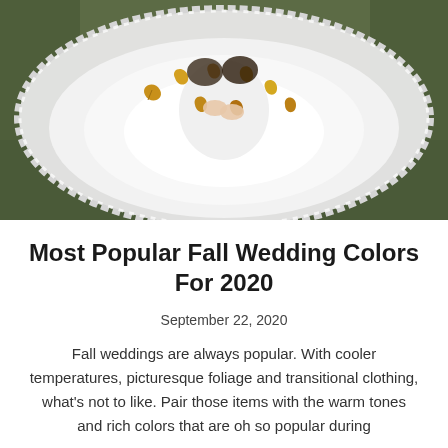[Figure (photo): Aerial overhead view of a bride in a large white tulle ball gown with lace trim veil spread out on green grass, with autumn leaves scattered on the dress. Two people visible holding hands in the center of the gown.]
Most Popular Fall Wedding Colors For 2020
September 22, 2020
Fall weddings are always popular. With cooler temperatures, picturesque foliage and transitional clothing, what's not to like. Pair those items with the warm tones and rich colors that are oh so popular during